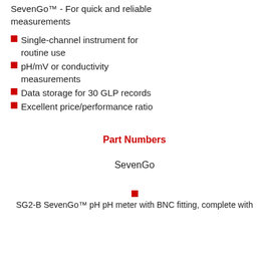SevenGo™ - For quick and reliable measurements
Single-channel instrument for routine use
pH/mV or conductivity measurements
Data storage for 30 GLP records
Excellent price/performance ratio
Part Numbers
SevenGo
SG2-B SevenGo™ pH pH meter with BNC fitting, complete with